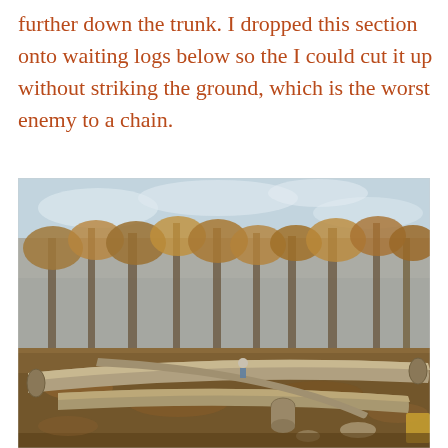further down the trunk. I dropped this section onto waiting logs below so the I could cut it up without striking the ground, which is the worst enemy to a chain.
[Figure (photo): Outdoor woodland scene showing several large felled logs lying on the ground in a clearing. Trees with autumn foliage fill the background under a partly cloudy sky. A person is visible in the mid-ground near the logs. Leaf litter covers the ground.]